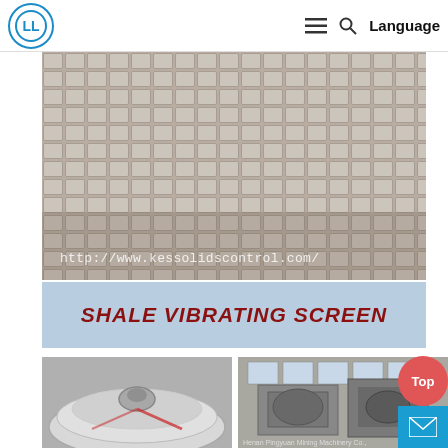LL logo | navigation menu | search | Language
[Figure (photo): Close-up photo of a shale vibrating screen mesh surface with square grid pattern, watermark text: http://www.kessolidscontrol.com/]
SHALE VIBRATING SCREEN
[Figure (photo): Photo of a circular stainless steel vibrating screen machine top view]
[Figure (photo): Photo of industrial vibrating screen machinery in a factory setting with text: Henan Pingyuan Mining Machinery Co.,]